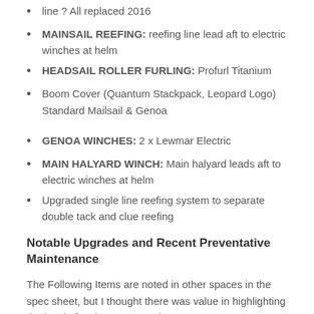line ? All replaced 2016
MAINSAIL REEFING: reefing line lead aft to electric winches at helm
HEADSAIL ROLLER FURLING: Profurl Titanium
Boom Cover (Quantum Stackpack, Leopard Logo) Standard Mailsail & Genoa
GENOA WINCHES: 2 x Lewmar Electric
MAIN HALYARD WINCH: Main halyard leads aft to electric winches at helm
Upgraded single line reefing system to separate double tack and clue reefing
Notable Upgrades and Recent Preventative Maintenance
The Following Items are noted in other spaces in the spec sheet, but I thought there was value in highlighting the level of maintenance and